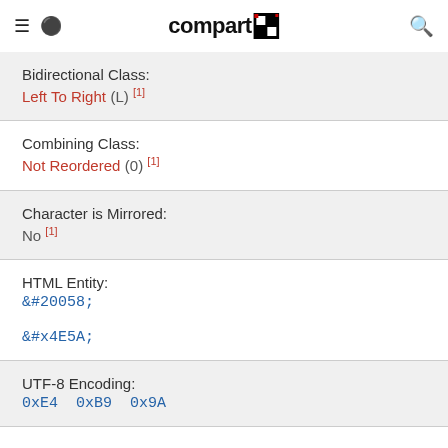compart
Bidirectional Class:
Left To Right (L) [1]
Combining Class:
Not Reordered (0) [1]
Character is Mirrored:
No [1]
HTML Entity:
&#20058;
&#x4E5A;
UTF-8 Encoding:
0xE4 0xB9 0x9A